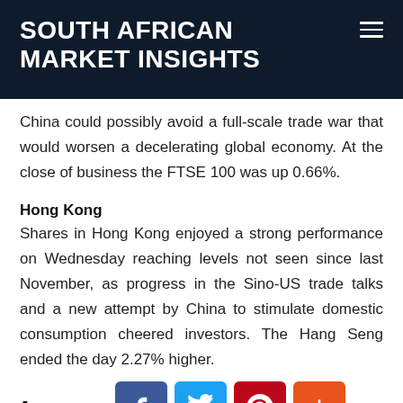SOUTH AFRICAN MARKET INSIGHTS
China could possibly avoid a full-scale trade war that would worsen a decelerating global economy. At the close of business the FTSE 100 was up 0.66%.
Hong Kong
Shares in Hong Kong enjoyed a strong performance on Wednesday reaching levels not seen since last November, as progress in the Sino-US trade talks and a new attempt by China to stimulate domestic consumption cheered investors. The Hang Seng ended the day 2.27% higher.
Japan
[Figure (other): Social sharing buttons: Facebook, Twitter, Pinterest, and a generic share/add button]